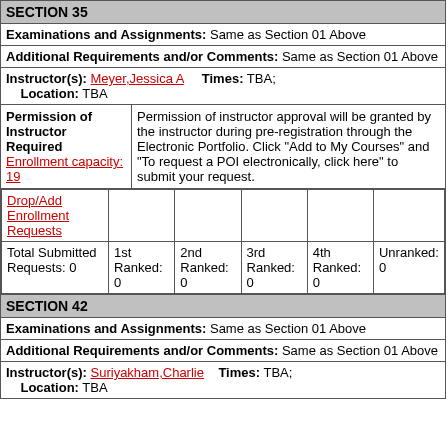SECTION 35
Examinations and Assignments: Same as Section 01 Above
Additional Requirements and/or Comments: Same as Section 01 Above
Instructor(s): Meyer,Jessica A   Times: TBA;    Location: TBA
Permission of Instructor Required Enrollment capacity: 19 | Permission of instructor approval will be granted by the instructor during pre-registration through the Electronic Portfolio. Click "Add to My Courses" and "To request a POI electronically, click here" to submit your request.
| Drop/Add Enrollment Requests |  |  |  |  |  |
| --- | --- | --- | --- | --- | --- |
| Total Submitted Requests: 0 | 1st Ranked: 0 | 2nd Ranked: 0 | 3rd Ranked: 0 | 4th Ranked: 0 | Unranked: 0 |
SECTION 42
Examinations and Assignments: Same as Section 01 Above
Additional Requirements and/or Comments: Same as Section 01 Above
Instructor(s): Suriyakham,Charlie   Times: TBA;    Location: TBA